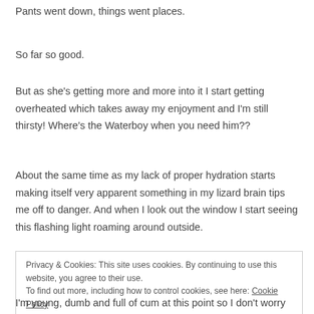Pants went down, things went places.
So far so good.
But as she's getting more and more into it I start getting overheated which takes away my enjoyment and I'm still thirsty! Where's the Waterboy when you need him??
About the same time as my lack of proper hydration starts making itself very apparent something in my lizard brain tips me off to danger. And when I look out the window I start seeing this flashing light roaming around outside.
Privacy & Cookies: This site uses cookies. By continuing to use this website, you agree to their use.
To find out more, including how to control cookies, see here: Cookie Policy
Close
I'm young, dumb and full of cum at this point so I don't worry about